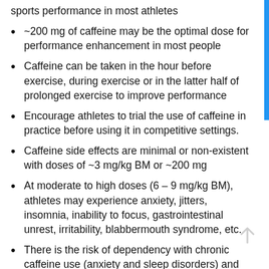sports performance in most athletes
~200 mg of caffeine may be the optimal dose for performance enhancement in most people
Caffeine can be taken in the hour before exercise, during exercise or in the latter half of prolonged exercise to improve performance
Encourage athletes to trial the use of caffeine in practice before using it in competitive settings.
Caffeine side effects are minimal or non-existent with doses of ~3 mg/kg BM or ~200 mg
At moderate to high doses (6 – 9 mg/kg BM), athletes may experience anxiety, jitters, insomnia, inability to focus, gastrointestinal unrest, irritability, blabbermouth syndrome, etc.
There is the risk of dependency with chronic caffeine use (anxiety and sleep disorders) and